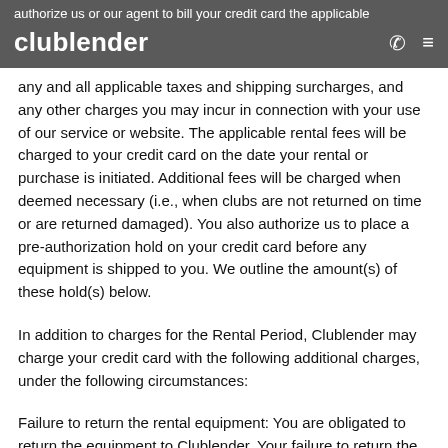clublender
authorize us or our agent to bill your credit card the applicable any and all applicable taxes and shipping surcharges, and any other charges you may incur in connection with your use of our service or website. The applicable rental fees will be charged to your credit card on the date your rental or purchase is initiated. Additional fees will be charged when deemed necessary (i.e., when clubs are not returned on time or are returned damaged). You also authorize us to place a pre-authorization hold on your credit card before any equipment is shipped to you. We outline the amount(s) of these hold(s) below.
In addition to charges for the Rental Period, Clublender may charge your credit card with the following additional charges, under the following circumstances:
Failure to return the rental equipment: You are obligated to return the equipment to Clublender. Your failure to return the